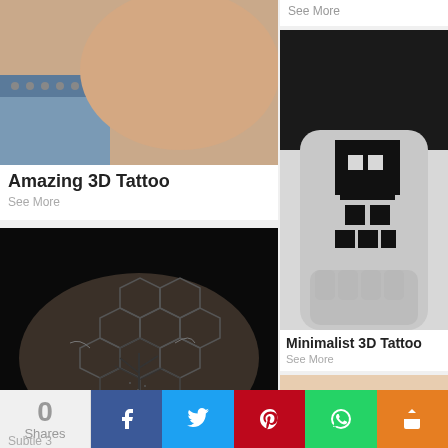[Figure (photo): Close-up photo of skin with a 3D tattoo, person wearing jeans with a studded belt]
Amazing 3D Tattoo
See More
[Figure (photo): Black and white photo of an arm with geometric minimalist black square tattoos arranged on the forearm, fist clenched]
Minimalist 3D Tattoo
See More
See More
[Figure (photo): Black background photo of an arm with detailed honeycomb geometric tattoo with a tree design in the center]
[Figure (photo): Photo of an arm with a colorful outline tattoo in blue and red/pink tones]
0
Shares
Subtle 3
0  Shares  Subtle 3